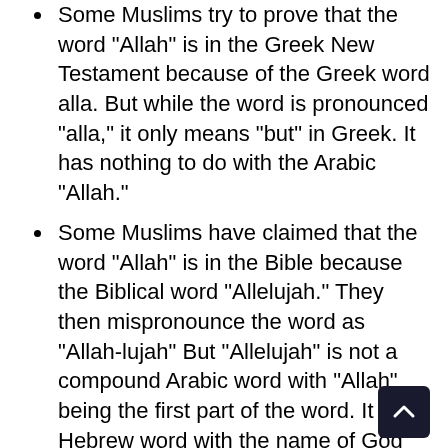Some Muslims try to prove that the word "Allah" is in the Greek New Testament because of the Greek word alla. But while the word is pronounced "alla," it only means "but" in Greek. It has nothing to do with the Arabic "Allah."
Some Muslims have claimed that the word "Allah" is in the Bible because the Biblical word "Allelujah." They then mispronounce the word as "Allah-lujah" But "Allelujah" is not a compound Arabic word with "Allah" being the first part of the word. It is a Hebrew word with the name of God being "JAH" (or Yahweh) and the verb "alle" meaning "praise to." It means "praise to Yahweh." The Arabic word "Allah" is not in the word.
The same error is found in the Muslim argument that the word "Baca" (Psa. 84:6) really means